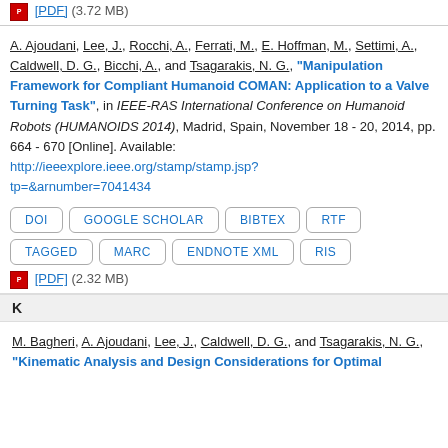[PDF] (3.72 MB)
A. Ajoudani, Lee, J., Rocchi, A., Ferrati, M., E. Hoffman, M., Settimi, A., Caldwell, D. G., Bicchi, A., and Tsagarakis, N. G., "Manipulation Framework for Compliant Humanoid COMAN: Application to a Valve Turning Task", in IEEE-RAS International Conference on Humanoid Robots (HUMANOIDS 2014), Madrid, Spain, November 18 - 20, 2014, pp. 664 - 670 [Online]. Available: http://ieeexplore.ieee.org/stamp/stamp.jsp?tp=&arnumber=7041434
DOI
GOOGLE SCHOLAR
BIBTEX
RTF
TAGGED
MARC
ENDNOTE XML
RIS
[PDF] (2.32 MB)
K
M. Bagheri, A. Ajoudani, Lee, J., Caldwell, D. G., and Tsagarakis, N. G., "Kinematic Analysis and Design Considerations for Optimal